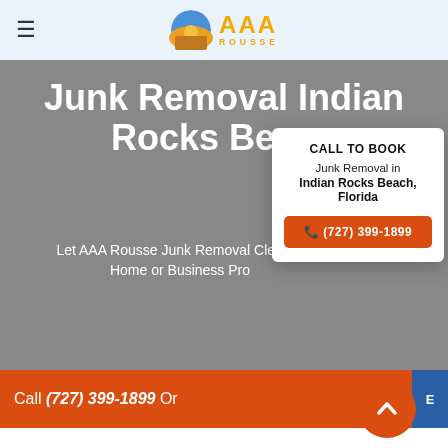[Figure (logo): AAA Rousse junk removal company logo with circular sunset icon and yellow AAA Rousse text]
Junk Removal Indian Rocks Beach
Let AAA Rousse Junk Removal Clean Your Home or Business Property
CALL TO BOOK
Junk Removal in
Indian Rocks Beach, Florida
📞 (727) 399-1899
Call (727) 399-1899 Or E